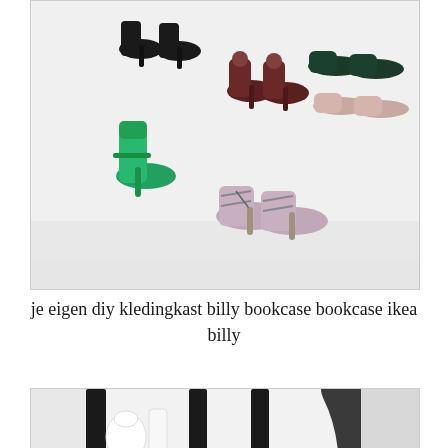[Figure (photo): Multiple pairs of women's heeled shoes arranged on a white surface. Includes green ankle-strap heels, black heels, dark red/maroon peep-toe heels, black flats, beige/pink flats, and patterned strappy sandals.]
je eigen diy kledingkast billy bookcase bookcase ikea billy
[Figure (photo): Interior of an IKEA Billy bookcase with black wooden frame/doors, white shelves containing white ceramic items (teapot, lamp), glass items, and a dark grey garment hanging on the right side.]